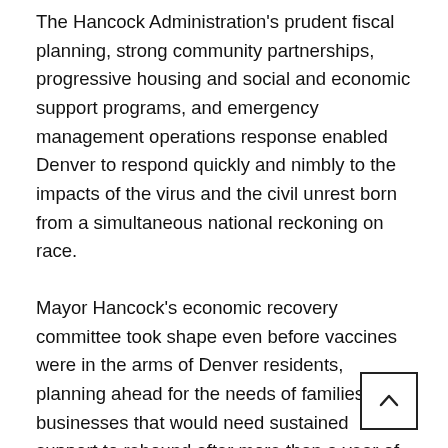The Hancock Administration's prudent fiscal planning, strong community partnerships, progressive housing and social and economic support programs, and emergency management operations response enabled Denver to respond quickly and nimbly to the impacts of the virus and the civil unrest born from a simultaneous national reckoning on race.
Mayor Hancock's economic recovery committee took shape even before vaccines were in the arms of Denver residents, planning ahead for the needs of families and businesses that would need sustained support to rebound after more than a year of devastating losses of lives and livelihoods.